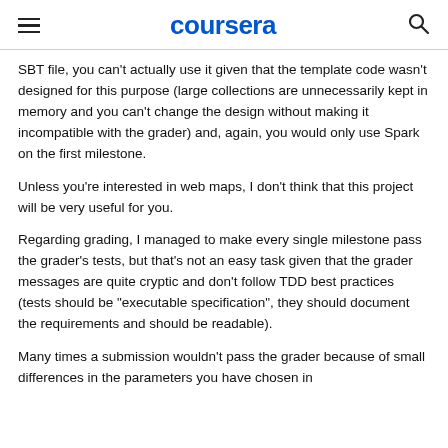coursera
SBT file, you can't actually use it given that the template code wasn't designed for this purpose (large collections are unnecessarily kept in memory and you can't change the design without making it incompatible with the grader) and, again, you would only use Spark on the first milestone.
Unless you're interested in web maps, I don't think that this project will be very useful for you.
Regarding grading, I managed to make every single milestone pass the grader's tests, but that's not an easy task given that the grader messages are quite cryptic and don't follow TDD best practices (tests should be "executable specification", they should document the requirements and should be readable).
Many times a submission wouldn't pass the grader because of small differences in the parameters you have chosen in